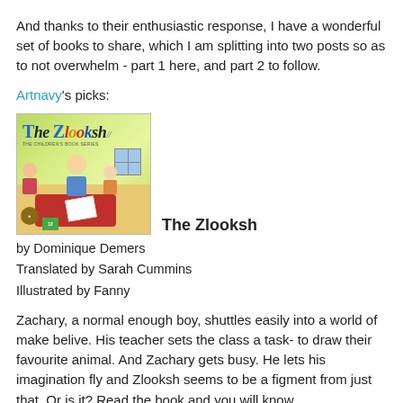And thanks to their enthusiastic response, I have a wonderful set of books to share, which I am splitting into two posts so as to not overwhelm - part 1 here, and part 2 to follow.
Artnavy's picks:
[Figure (photo): Book cover of 'The Zlooksh' showing illustrated children in a classroom/playroom with colorful characters]
The Zlooksh
by Dominique Demers
Translated by Sarah Cummins
Illustrated by Fanny
Zachary, a normal enough boy, shuttles easily into a world of make belive. His teacher sets the class a task- to draw their favourite animal. And Zachary gets busy. He lets his imagination fly and Zlooksh seems to be a figment from just that. Or is it? Read the book and you will know.